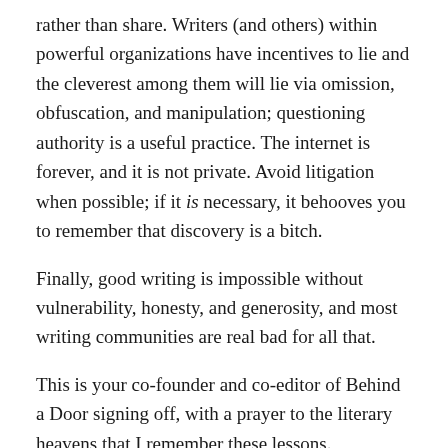rather than share. Writers (and others) within powerful organizations have incentives to lie and the cleverest among them will lie via omission, obfuscation, and manipulation; questioning authority is a useful practice. The internet is forever, and it is not private. Avoid litigation when possible; if it is necessary, it behooves you to remember that discovery is a bitch.
Finally, good writing is impossible without vulnerability, honesty, and generosity, and most writing communities are real bad for all that.
This is your co-founder and co-editor of Behind a Door signing off, with a prayer to the literary heavens that I remember these lessons.
Behind a Door will continue this series on ethics and intentions in future issues.